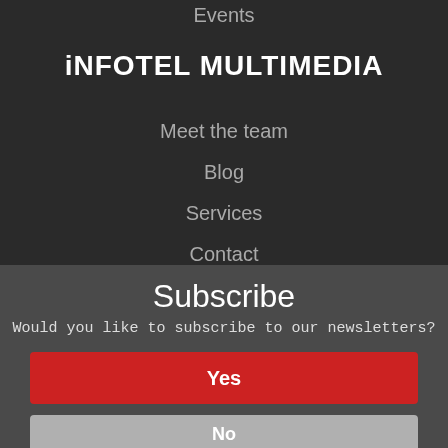Events
iNFOTEL MULTIMEDIA
Meet the team
Blog
Services
Contact
Subscribe
Would you like to subscribe to our newsletters?
Yes
No